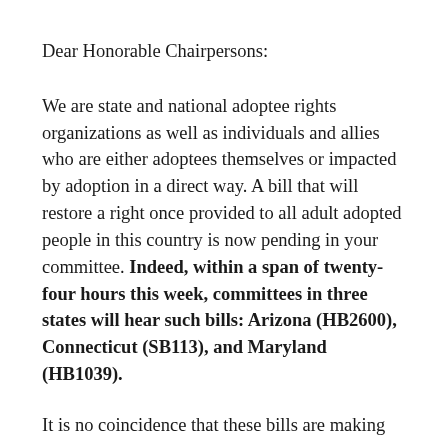Dear Honorable Chairpersons:
We are state and national adoptee rights organizations as well as individuals and allies who are either adoptees themselves or impacted by adoption in a direct way. A bill that will restore a right once provided to all adult adopted people in this country is now pending in your committee. Indeed, within a span of twenty-four hours this week, committees in three states will hear such bills: Arizona (HB2600), Connecticut (SB113), and Maryland (HB1039).
It is no coincidence that these bills are making